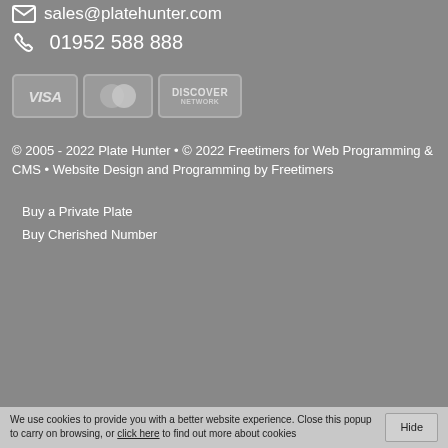sales@platehunter.com
01952 588 888
[Figure (other): Payment method logos: VISA, MasterCard, Discover Network]
© 2005 - 2022 Plate Hunter • © 2022 Freetimers for Web Programming & CMS • Website Design and Programming by Freetimers
Buy a Private Plate
Buy Cherished Number
We use cookies to provide you with a better website experience. Close this popup to carry on browsing, or click here to find out more about cookies